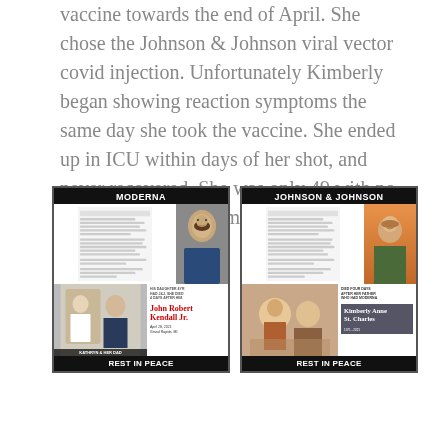vaccine towards the end of April. She chose the Johnson & Johnson viral vector covid injection. Unfortunately Kimberly began showing reaction symptoms the same day she took the vaccine. She ended up in ICU within days of her shot, and never recovered. She was only 49 with no known health problems and a mother of four children.
[Figure (infographic): Two memorial cards side by side. Left card labeled MODERNA shows a social media post with a man's photo, a wedding photo captioned KATHRYN & HER DAD, and text reading HIS DAUGHTER 4YR HAD J&J, SHE DIED 4 DAYS AFTER HIM. John Robert Kendall Jr. April 28, 2021. Grand Rapids, MI. REST IN PEACE. Right card labeled JOHNSON & JOHNSON shows a social media post with a woman's photo, a childhood photo, and text reading DIED FOUR DAYS AFTER HER FATHER WHO HAD MODERNA. Kimberly Anne St. Charles 1971-2021. REST IN PEACE.]